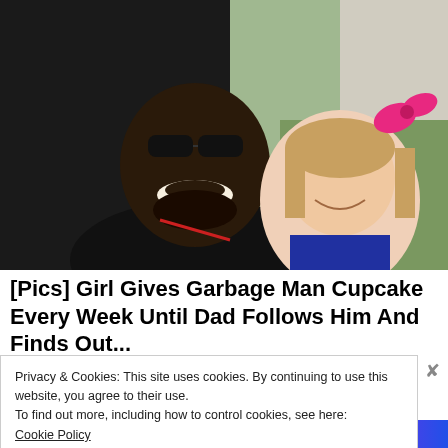[Figure (photo): A man wearing sunglasses and a black jacket smiling next to a young blonde girl with a pink bow in her hair. They are outdoors near a building with green grass visible in the background.]
[Pics] Girl Gives Garbage Man Cupcake Every Week Until Dad Follows Him And Finds Out...
HealthvGem
Privacy & Cookies: This site uses cookies. By continuing to use this website, you agree to their use.
To find out more, including how to control cookies, see here:
Cookie Policy
Close and accept